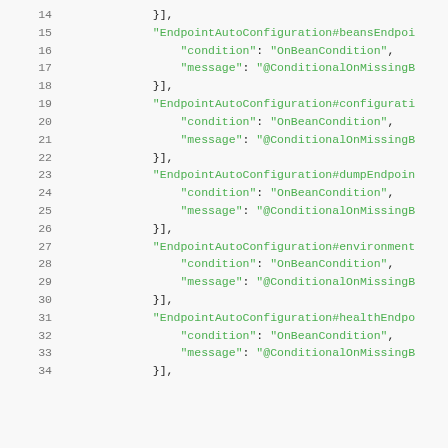Code snippet (JSON): lines 14-34 showing EndpointAutoConfiguration entries with condition and message fields.